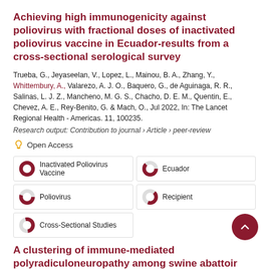Achieving high immunogenicity against poliovirus with fractional doses of inactivated poliovirus vaccine in Ecuador-results from a cross-sectional serological survey
Trueba, G., Jeyaseelan, V., Lopez, L., Mainou, B. A., Zhang, Y., Whittembury, A., Valarezo, A. J. O., Baquero, G., de Aguinaga, R. R., Salinas, L. J. Z., Mancheno, M. G. S., Chacho, D. E. M., Quentin, E., Chevez, A. E., Rey-Benito, G. & Mach, O., Jul 2022, In: The Lancet Regional Health - Americas. 11, 100235.
Research output: Contribution to journal › Article › peer-review
Open Access
Inactivated Poliovirus Vaccine
Ecuador
Poliovirus
Recipient
Cross-Sectional Studies
A clustering of immune-mediated polyradiculoneuropathy among swine abattoir